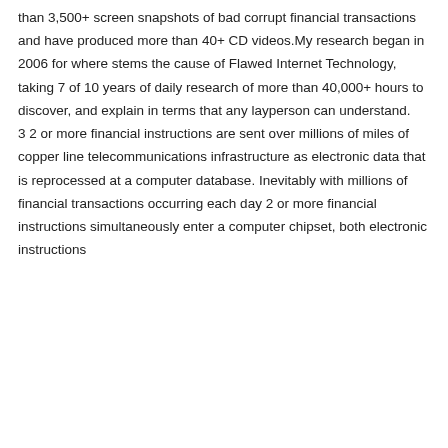than 3,500+ screen snapshots of bad corrupt financial transactions and have produced more than 40+ CD videos.My research began in 2006 for where stems the cause of Flawed Internet Technology, taking 7 of 10 years of daily research of more than 40,000+ hours to discover, and explain in terms that any layperson can understand. 3 2 or more financial instructions are sent over millions of miles of copper line telecommunications infrastructure as electronic data that is reprocessed at a computer database. Inevitably with millions of financial transactions occurring each day 2 or more financial instructions simultaneously enter a computer chipset, both electronic instructions